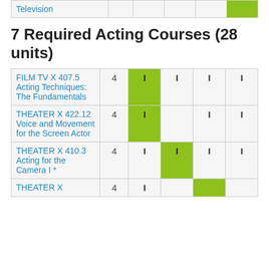| Course | Units | Col1 | Col2 | Col3 | Col4 |
| --- | --- | --- | --- | --- | --- |
| Television |  |  |  |  | (green) |
| FILM TV X 407.5 Acting Techniques: The Fundamentals | 4 | I (green) | I | I | I |
| THEATER X 422.12 Voice and Movement for the Screen Actor | 4 | I (green) |  | I | I |
| THEATER X 410.3 Acting for the Camera I * | 4 | I | I (green) | I | I |
| THEATER X | 4 | I |  | (green) |  |
7 Required Acting Courses (28 units)